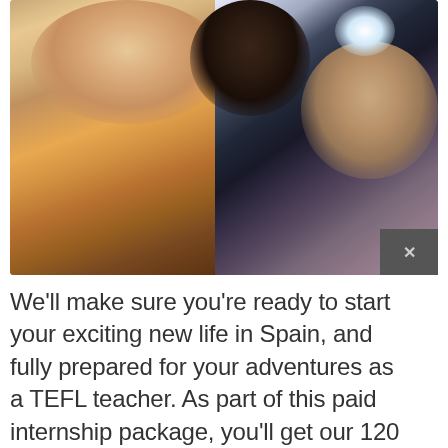[Figure (photo): A selfie-style group photo showing three people smiling. On the left is a woman with long hair wearing an orange/tan jacket, laughing with mouth wide open. In the center-back is a tall person with dark skin. On the right is a woman making a peace sign with her fingers, wearing a purple/mauve sweater. The background appears to be an indoor setting with some blue imagery visible.]
We'll make sure you're ready to start your exciting new life in Spain, and fully prepared for your adventures as a TEFL teacher. As part of this paid internship package, you'll get our 120 hour TEFL certificate and a university